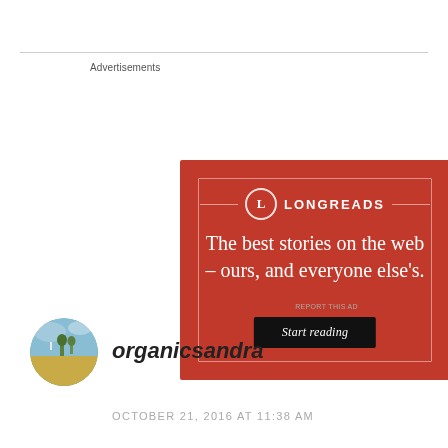[Figure (screenshot): Longreads advertisement banner with red background. Shows the Longreads logo (circle with L) and text: 'The best stories on the web – ours, and everyone else's.' with a 'Start reading' button.]
Advertisements
REPORT THIS AD
[Figure (photo): Circular avatar photo showing an outdoor scene with sky, clouds, trees, and a person standing near a field.]
organicsandra
OCTOBER 21, 2016 AT 11:38 AM